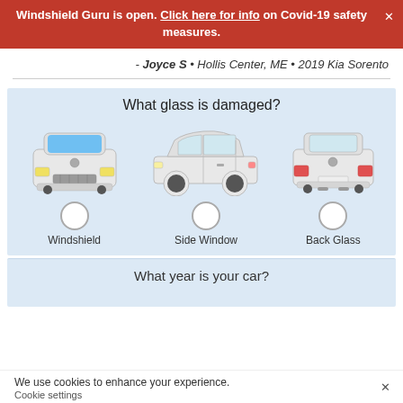Windshield Guru is open. Click here for info on Covid-19 safety measures.
- Joyce S • Hollis Center, ME • 2019 Kia Sorento
[Figure (infographic): Car glass selection UI showing three car views: front (windshield highlighted in blue), side, and rear, each with a radio button and label: Windshield, Side Window, Back Glass. Question reads 'What glass is damaged?']
What year is your car?
We use cookies to enhance your experience.
Cookie settings